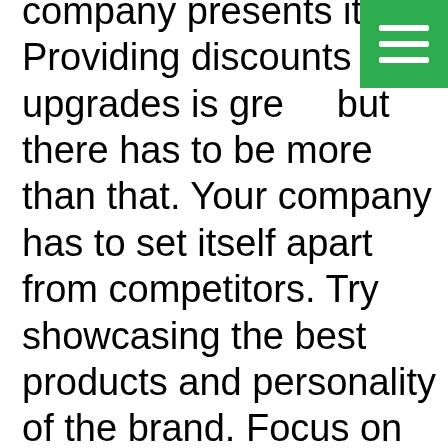company presents itself. Providing discounts and upgrades is great, but there has to be more than that. Your company has to set itself apart from competitors. Try showcasing the best products and personality of the brand. Focus on letting consumers get to know your employees. Shoppers are more likely to do repeat business with a brand they feel a connection to. A good deal might get people buying, but it won't necessarily get them to stick around. Do something different to ensure that